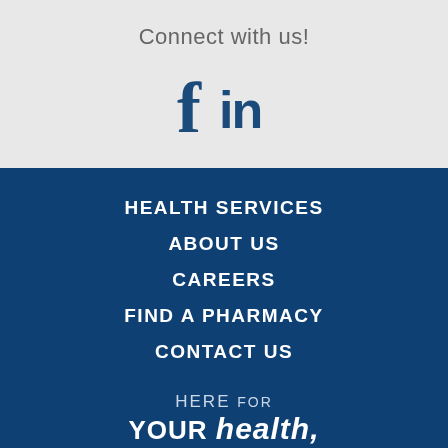Connect with us!
[Figure (illustration): Facebook and LinkedIn social media icons in dark blue]
HEALTH SERVICES
ABOUT US
CAREERS
FIND A PHARMACY
CONTACT US
HERE FOR YOUR health, FOR life